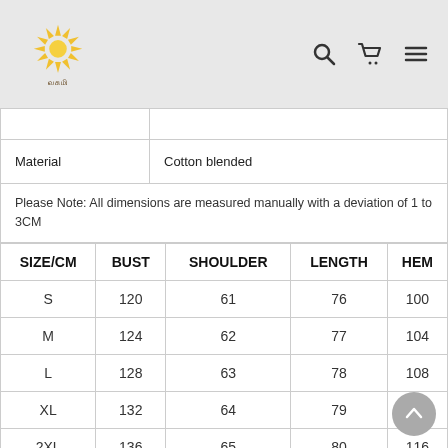Website header with logo, search, cart, and menu icons
|  |  |
| --- | --- |
|  |  |
| Material | Cotton blended |
| Please Note: All dimensions are measured manually with a deviation of 1 to 3CM |  |
| SIZE/CM | BUST | SHOULDER | LENGTH | HEM |
| --- | --- | --- | --- | --- |
| S | 120 | 61 | 76 | 100 |
| M | 124 | 62 | 77 | 104 |
| L | 128 | 63 | 78 | 108 |
| XL | 132 | 64 | 79 | 112 |
| 2XL | 136 | 65 | 80 | 116 |